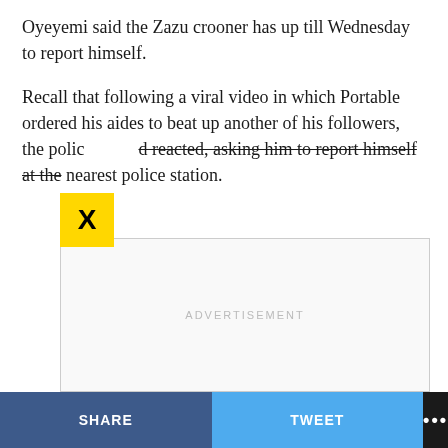Oyeyemi said the Zazu crooner has up till Wednesday to report himself.
Recall that following a viral video in which Portable ordered his aides to beat up another of his followers, the police reacted, asking him to report himself at the nearest police station.
[Figure (other): Yellow close/dismiss button with black X symbol overlaid on article text]
[Figure (other): Advertisement placeholder box with ADVERTISEMENT label]
SHARE   TWEET   ...